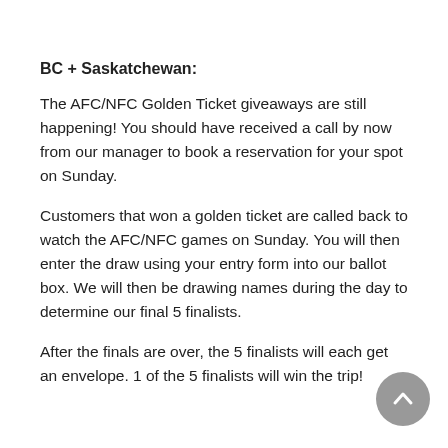BC + Saskatchewan:
The AFC/NFC Golden Ticket giveaways are still happening! You should have received a call by now from our manager to book a reservation for your spot on Sunday.
Customers that won a golden ticket are called back to watch the AFC/NFC games on Sunday. You will then enter the draw using your entry form into our ballot box. We will then be drawing names during the day to determine our final 5 finalists.
After the finals are over, the 5 finalists will each get an envelope. 1 of the 5 finalists will win the trip!